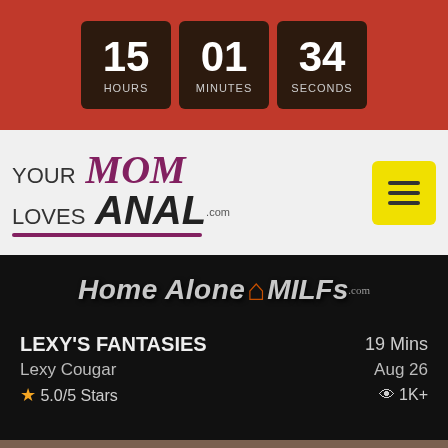15 HOURS 01 MINUTES 34 SECONDS
[Figure (logo): YourMomLovesAnal.com website logo with purple and dark lettering on light grey background, plus yellow hamburger menu button]
[Figure (logo): HomeAloneMILFs.com site logo in stylized grey text with house icon on black background]
LEXY'S FANTASIES
Lexy Cougar
★ 5.0/5 Stars
19 Mins
Aug 26
👁 1K+
[Figure (photo): Partial photo showing two people in a bedroom setting, cropped at bottom of page]